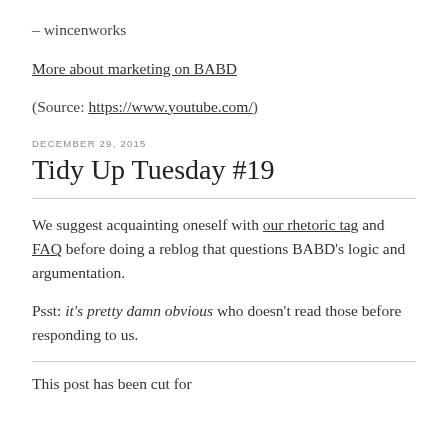– wincenworks
More about marketing on BABD
(Source: https://www.youtube.com/)
DECEMBER 29, 2015
Tidy Up Tuesday #19
We suggest acquainting oneself with our rhetoric tag and FAQ before doing a reblog that questions BABD's logic and argumentation.
Psst: it's pretty damn obvious who doesn't read those before responding to us.
This post has been cut for...